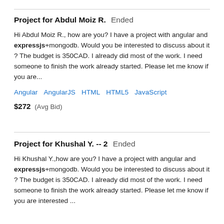Project for Abdul Moiz R.  Ended
Hi Abdul Moiz R., how are you? I have a project with angular and expressjs+mongodb. Would you be interested to discuss about it ? The budget is 350CAD. I already did most of the work. I need someone to finish the work already started. Please let me know if you are...
Angular   AngularJS   HTML   HTML5   JavaScript
$272  (Avg Bid)
Project for Khushal Y. -- 2  Ended
Hi Khushal Y.,how are you? I have a project with angular and expressjs+mongodb. Would you be interested to discuss about it ? The budget is 350CAD. I already did most of the work. I need someone to finish the work already started. Please let me know if you are interested ...